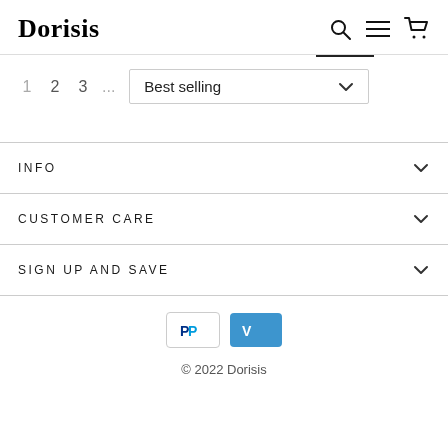Dorisis
1  2  3  ...
Best selling
INFO
CUSTOMER CARE
SIGN UP AND SAVE
[Figure (other): PayPal and Venmo payment icons]
© 2022 Dorisis